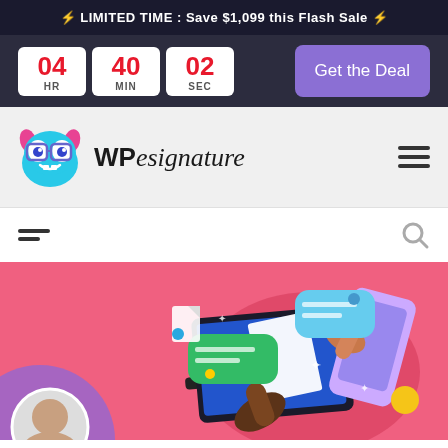⚡ LIMITED TIME : Save $1,099 this Flash Sale ⚡
[Figure (screenshot): Countdown timer showing 04 HR, 40 MIN, 02 SEC with a purple 'Get the Deal' button on dark background]
[Figure (logo): WPesignature logo with monster mascot character]
[Figure (infographic): Navigation bar with hamburger menu lines and search icon]
[Figure (illustration): Hero section with pink background showing digital signing illustration with laptop, smartphone, document, and chat bubbles. Purple circle with person avatar in bottom left.]